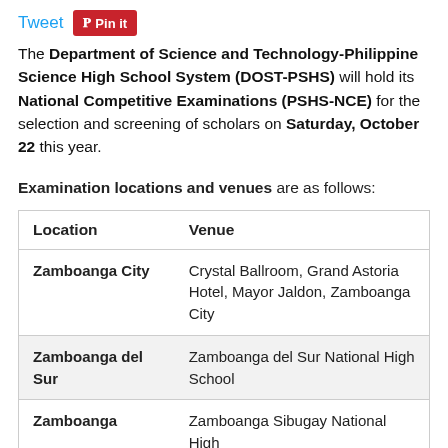[Figure (screenshot): Tweet and Pin it social sharing buttons]
The Department of Science and Technology-Philippine Science High School System (DOST-PSHS) will hold its National Competitive Examinations (PSHS-NCE) for the selection and screening of scholars on Saturday, October 22 this year.
Examination locations and venues are as follows:
| Location | Venue |
| --- | --- |
| Zamboanga City | Crystal Ballroom, Grand Astoria Hotel, Mayor Jaldon, Zamboanga City |
| Zamboanga del Sur | Zamboanga del Sur National High School |
| Zamboanga | Zamboanga Sibugay National High |